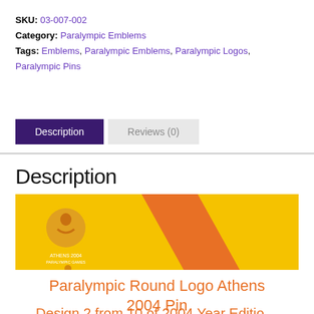SKU: 03-007-002
Category: Paralympic Emblems
Tags: Emblems, Paralympic Emblems, Paralympic Logos, Paralympic Pins
Description
Reviews (0)
Description
[Figure (photo): Athens 2004 Paralympic pin showing orange and yellow design with round logo]
Paralympic Round Logo Athens 2004 Pin
Design 2 from 10 of 2004 Year Edition